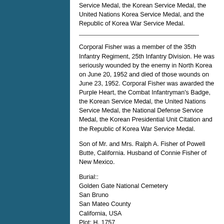Service Medal, the Korean Service Medal, the United Nations Korea Service Medal, and the Republic of Korea War Service Medal.
Corporal Fisher was a member of the 35th Infantry Regiment, 25th Infantry Division. He was seriously wounded by the enemy in North Korea on June 20, 1952 and died of those wounds on June 23, 1952. Corporal Fisher was awarded the Purple Heart, the Combat Infantryman's Badge, the Korean Service Medal, the United Nations Service Medal, the National Defense Service Medal, the Korean Presidential Unit Citation and the Republic of Korea War Service Medal.
Son of Mr. and Mrs. Ralph A. Fisher of Powell Butte, California. Husband of Connie Fisher of New Mexico.
Burial::
Golden Gate National Cemetery
San Bruno
San Mateo County
California, USA
Plot: H, 1757